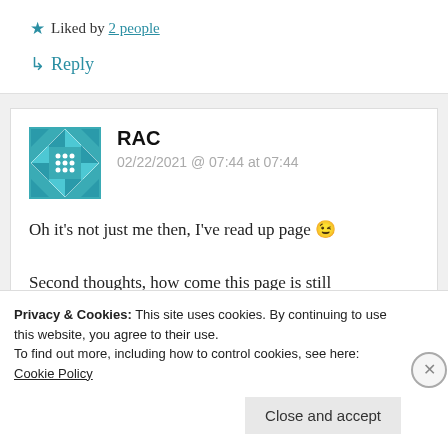★ Liked by 2 people
↳ Reply
RAC
02/22/2021 @ 07:44 at 07:44
Oh it's not just me then, I've read up page 😉 Second thoughts, how come this page is still working when the others don't, cos I experimented
Privacy & Cookies: This site uses cookies. By continuing to use this website, you agree to their use. To find out more, including how to control cookies, see here: Cookie Policy
Close and accept